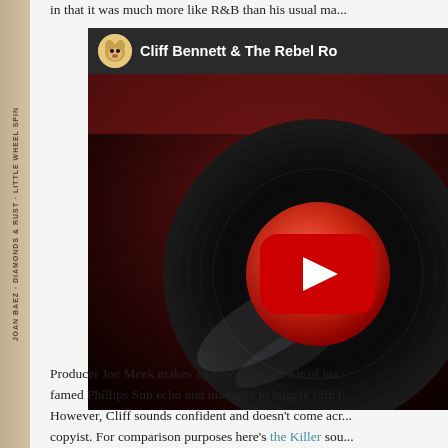in that it was much more like R&B than his usual material.
[Figure (screenshot): YouTube video thumbnail showing a vinyl record with a red center label and a YouTube play button overlay. The video title bar shows 'Cliff Bennett & The Rebel Ro...' with a cartoon dog channel icon on a dark background.]
Producer Joe Meek makes an absolute pig's ear of his famed Phillips Sun echo and manages to largely ruin t... However, Cliff sounds confident and doesn't come acr... copyist. For comparison purposes here's the Killer sou...